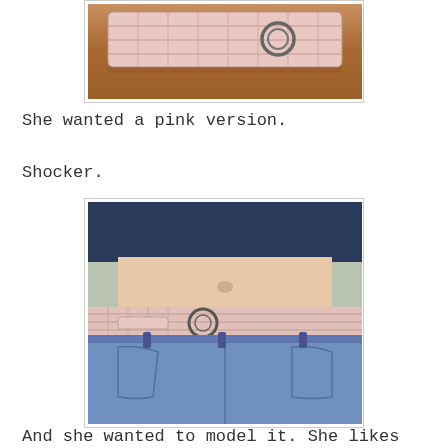[Figure (photo): Close-up photo of a braided/woven belt on a wooden surface, showing the buckle area. The belt appears to be a natural/pink woven fabric.]
She wanted a pink version.
Shocker.
[Figure (photo): Photo of a person wearing jeans with a pink woven/braided belt with a ring buckle. The person is wearing a navy blue top and the photo shows the waist area.]
And she wanted to model it. She likes the fact that it adds a